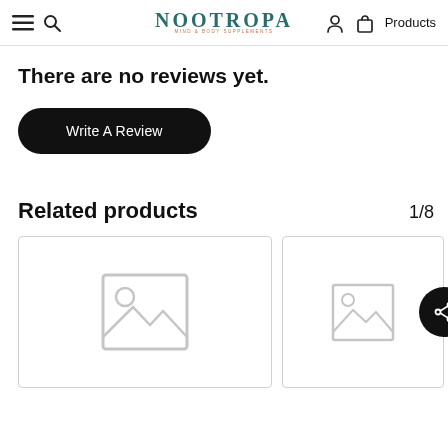NOOTROPA - MIND & BODY SUPPLEMENTS | Products
There are no reviews yet.
Write A Review
Related products
1/8
[Figure (screenshot): Placeholder product image card with image placeholder icon (frame with landscape icon)]
[Figure (screenshot): Partially visible second product card with share button overlay]